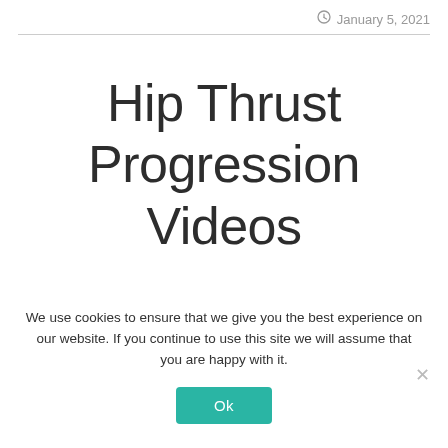January 5, 2021
Hip Thrust Progression Videos
We use cookies to ensure that we give you the best experience on our website. If you continue to use this site we will assume that you are happy with it.